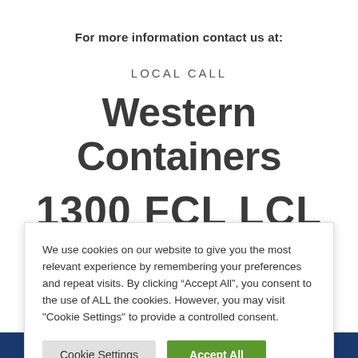For more information contact us at:
LOCAL CALL
Western Containers
1300 FCL LCL
We use cookies on our website to give you the most relevant experience by remembering your preferences and repeat visits. By clicking “Accept All”, you consent to the use of ALL the cookies. However, you may visit "Cookie Settings" to provide a controlled consent.
Cookie Settings | Accept All